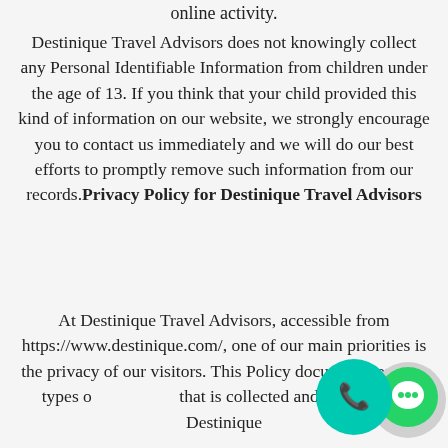online activity.
Destinique Travel Advisors does not knowingly collect any Personal Identifiable Information from children under the age of 13. If you think that your child provided this kind of information on our website, we strongly encourage you to contact us immediately and we will do our best efforts to promptly remove such information from our records.Privacy Policy for Destinique Travel Advisors
At Destinique Travel Advisors, accessible from https://www.destinique.com/, one of our main priorities is the privacy of our visitors. This Policy document contains types of that is collected and recorded by Destinique
[Figure (illustration): Two chat/contact widget buttons: a teal phone icon button and a grey/teal WhatsApp-style icon button, overlapping in the bottom right corner]